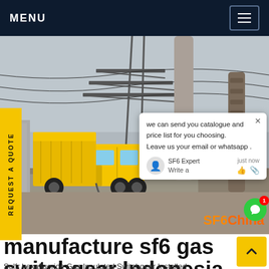MENU
[Figure (photo): Yellow utility truck parked at an electrical substation with high-voltage transmission towers and insulators. Watermark: SF6China.]
we can send you catalogue and price list for you choosing. Leave us your email or whatsapp .
SF6 Expert   just now
Write a
REQUEST A QUOTE
manufacture sf6 gas switchgear Indonesia
Sulfr hexafluoride Gas Insulated Switchgear Installed